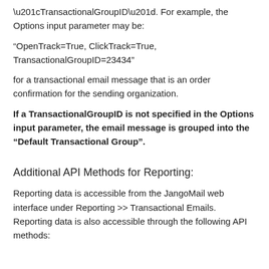“TransactionalGroupID”. For example, the Options input parameter may be:
“OpenTrack=True, ClickTrack=True, TransactionalGroupID=23434”
for a transactional email message that is an order confirmation for the sending organization.
If a TransactionalGroupID is not specified in the Options input parameter, the email message is grouped into the “Default Transactional Group”.
Additional API Methods for Reporting:
Reporting data is accessible from the JangoMail web interface under Reporting >> Transactional Emails.  Reporting data is also accessible through the following API methods: